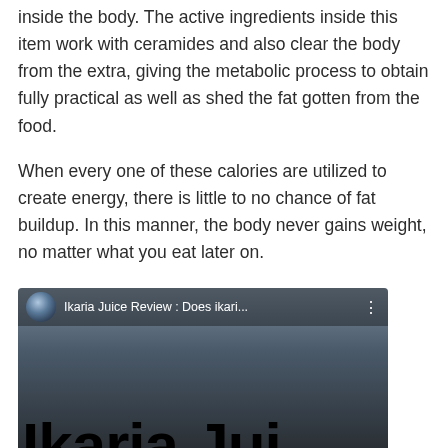inside the body. The active ingredients inside this item work with ceramides and also clear the body from the extra, giving the metabolic process to obtain fully practical as well as shed the fat gotten from the food.
When every one of these calories are utilized to create energy, there is little to no chance of fat buildup. In this manner, the body never gains weight, no matter what you eat later on.
[Figure (screenshot): Screenshot of a YouTube video thumbnail showing 'Ikaria Juice Review : Does ikari...' with bold text 'Ikaria Jui' visible in large black letters on a dark background.]